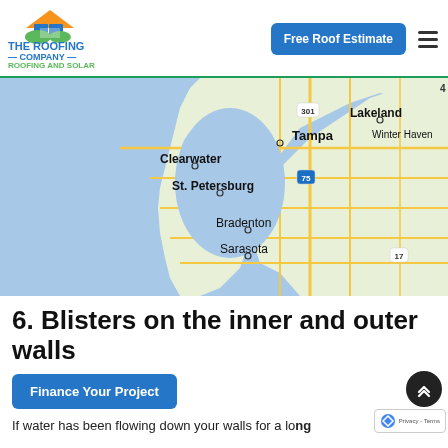[Figure (logo): The Roofing Company - Roofing and Solar logo with house icon in orange, blue and green]
[Figure (map): Google Maps view of Tampa Bay area, Florida, showing Tampa, Clearwater, St. Petersburg, Bradenton, Sarasota, Lakeland, Winter Haven]
6. Blisters on the inner and outer walls
[Figure (other): Finance Your Project button (blue rounded rectangle)]
If water has been flowing down your walls for a long